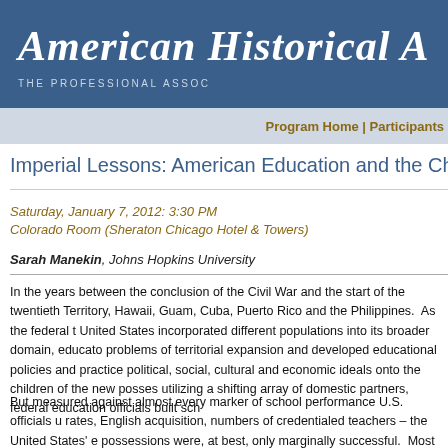American Historical A[ssociation] — THE PROFESSIONAL ASSOC[iation]
Program Home | Participants
Imperial Lessons: American Education and the Challenge o[f Empire]
Saturday, January 7, 2012: 3:30 PM
Colorado Room (Sheraton Chicago Hotel & Towers)
Sarah Manekin, Johns Hopkins University
In the years between the conclusion of the Civil War and the start of the twentieth [century, the United States acquired Indian] Territory, Hawaii, Guam, Cuba, Puerto Rico and the Philippines.  As the federal [government expanded its reach, the] United States incorporated different populations into its broader domain, educator[s grappled with the] problems of territorial expansion and developed educational policies and practice[s that would instill] political, social, cultural and economic ideals onto the children of the new posses[sions. Working and] utilizing a shifting array of domestic partners, federal education officials built sch[ools throughout the territories.]
But measured against almost every marker of school performance U.S. officials u[sed to measure success—literacy] rates, English acquisition, numbers of credentialed teachers – the United States' e[ducational programs in its new] possessions were, at best, only marginally successful.  Most historians have expla[ined this failure by] highlighting the resistance of the targeted populations.  And while these respo[nses certainly mattered,]